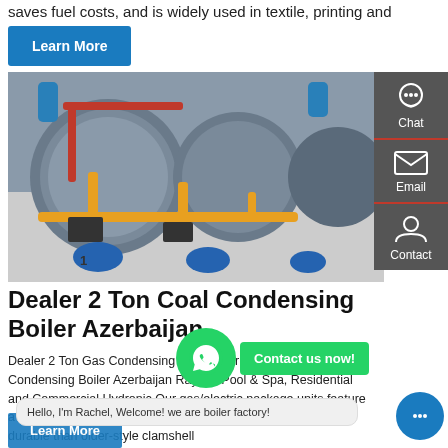saves fuel costs, and is widely used in textile, printing and dyeing, ...
Learn More
[Figure (photo): Industrial gas condensing boilers in a factory setting with blue, yellow and red piping]
Dealer 2 Ton Coal Condensing Boiler Azerbaijan
Dealer 2 Ton Gas Condensing Boiler Azerbaijan. 2 Ton Gas Condensing Boiler Azerbaijan Raypak Pool & Spa, Residential and Commercial Hydronic Our gas/electric package units feature a tubular heat exchanger designed to be more efficient and durable than older-style clamshell
Chat
Email
Contact
Contact us now!
Hello, I'm Rachel, Welcome! we are boiler factory!